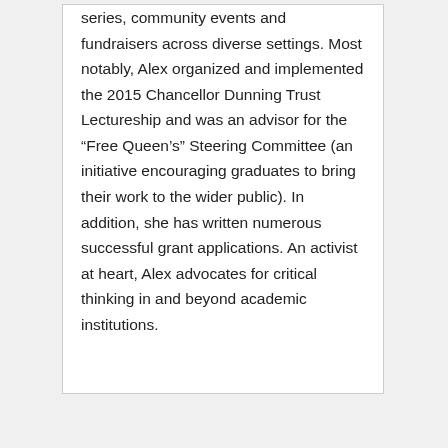series, community events and fundraisers across diverse settings. Most notably, Alex organized and implemented the 2015 Chancellor Dunning Trust Lectureship and was an advisor for the “Free Queen’s” Steering Committee (an initiative encouraging graduates to bring their work to the wider public). In addition, she has written numerous successful grant applications. An activist at heart, Alex advocates for critical thinking in and beyond academic institutions.